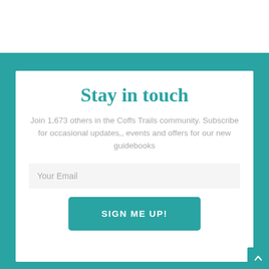Stay in touch
Join 1,673 others in the Coffs Trails community. Subscribe for occasional updates,, events and offers for our new guidebooks
Your Email
SIGN ME UP!